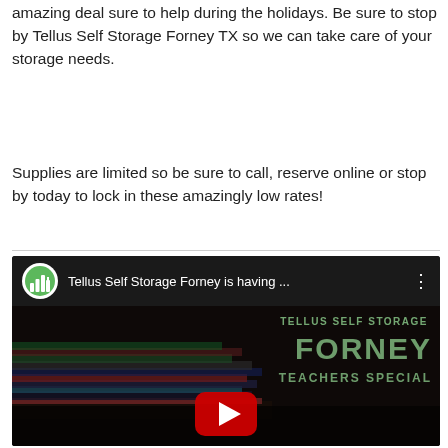amazing deal sure to help during the holidays. Be sure to stop by Tellus Self Storage Forney TX so we can take care of your storage needs.
Supplies are limited so be sure to call, reserve online or stop by today to lock in these amazingly low rates!
[Figure (screenshot): Embedded YouTube video thumbnail showing Tellus Self Storage Forney Teachers Special. Video title bar reads 'Tellus Self Storage Forney is having ...' with the Tellus logo. Background shows stacked books with overlay text 'TELLUS SELF STORAGE', 'FORNEY', 'TEACHERS SPECIAL' and a YouTube play button.]